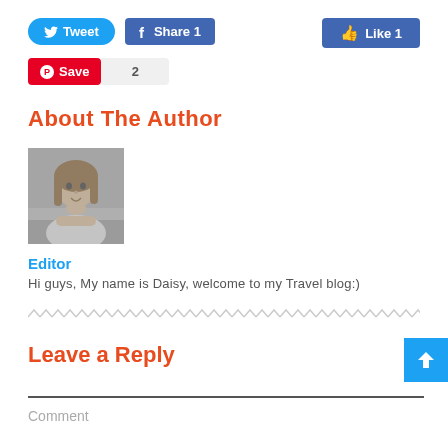[Figure (screenshot): Social sharing buttons row 1: Tweet (Twitter), Share 1 (Facebook), Like 1 (Facebook)]
[Figure (screenshot): Social sharing buttons row 2: Pinterest Save button with count 2]
About The Author
[Figure (photo): Black and white photo of a woman resting her chin on her hand, smiling slightly]
Editor
Hi guys, My name is Daisy, welcome to my Travel blog:)
Leave a Reply
Comment